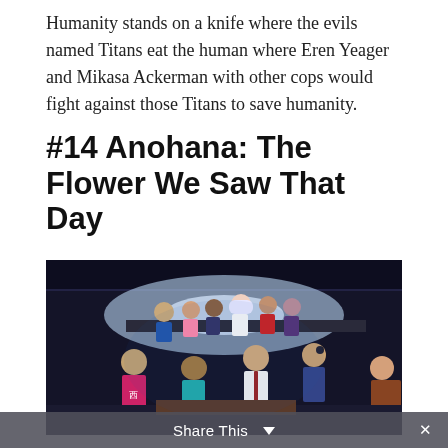Humanity stands on a knife where the evils named Titans eat the human where Eren Yeager and Mikasa Ackerman with other cops would fight against those Titans to save humanity.
#14 Anohana: The Flower We Saw That Day
[Figure (illustration): Anime scene from Anohana: The Flower We Saw That Day showing a group of anime characters inside a dimly lit building. Characters include a boy in a pink t-shirt with Japanese characters, a boy in teal shirt, a boy in school uniform with red tie, a girl in dark school uniform with glasses, an orange-haired girl at the right, and other characters sitting on an elevated platform above them including a white-haired girl, a girl with purple hair, and others.]
Share This ∨   ×